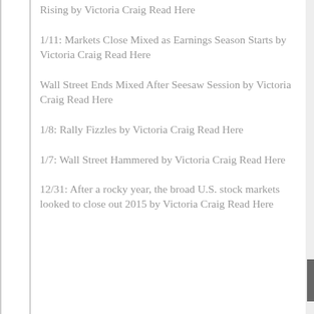Rising by Victoria Craig Read Here
1/11: Markets Close Mixed as Earnings Season Starts by Victoria Craig Read Here
Wall Street Ends Mixed After Seesaw Session by Victoria Craig Read Here
1/8: Rally Fizzles by Victoria Craig Read Here
1/7: Wall Street Hammered by Victoria Craig Read Here
12/31: After a rocky year, the broad U.S. stock markets looked to close out 2015 by Victoria Craig Read Here